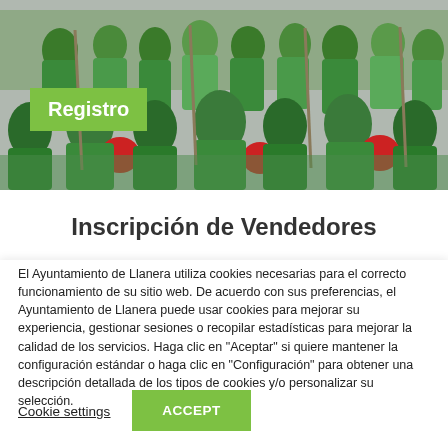[Figure (photo): Crowd of people wearing green t-shirts at an outdoor festival or event, some holding sticks or instruments, with red-dressed participants visible in the foreground.]
Registro
Inscripción de Vendedores
El Ayuntamiento de Llanera utiliza cookies necesarias para el correcto funcionamiento de su sitio web. De acuerdo con sus preferencias, el Ayuntamiento de Llanera puede usar cookies para mejorar su experiencia, gestionar sesiones o recopilar estadísticas para mejorar la calidad de los servicios. Haga clic en "Aceptar" si quiere mantener la configuración estándar o haga clic en "Configuración" para obtener una descripción detallada de los tipos de cookies y/o personalizar su selección.
Cookie settings
ACCEPT